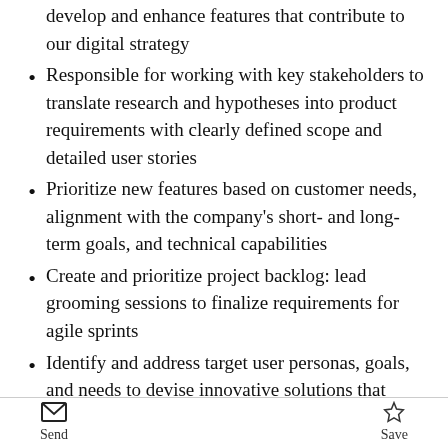develop and enhance features that contribute to our digital strategy
Responsible for working with key stakeholders to translate research and hypotheses into product requirements with clearly defined scope and detailed user stories
Prioritize new features based on customer needs, alignment with the company's short- and long-term goals, and technical capabilities
Create and prioritize project backlog: lead grooming sessions to finalize requirements for agile sprints
Identify and address target user personas, goals, and needs to devise innovative solutions that solve pain points and drive value for end users
Partner with internal technology and business teams to identify data quality issues and devise a
Send   Save